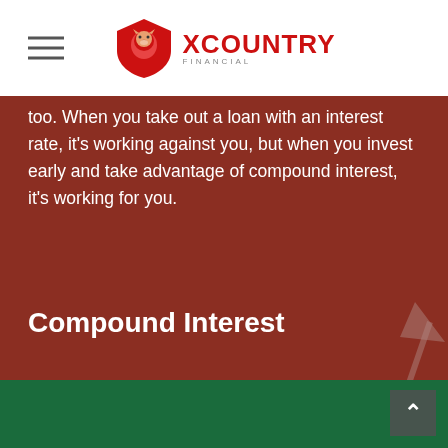XCountry Financial
too. When you take out a loan with an interest rate, it's working against you, but when you invest early and take advantage of compound interest, it's working for you.
Compound Interest
When you've got an account that's accruing interest, the interest earned gets added to the principal. Then, interest is earned on the new, larger principal, and the cycle repeats. That's compound interest, baby!
[Figure (illustration): Background illustration of financial icons: arrow pointing up-right, dollar sign, smartphone with growth chart, people figure, city infrastructure lines - rendered in muted white/gray lines on dark red background]